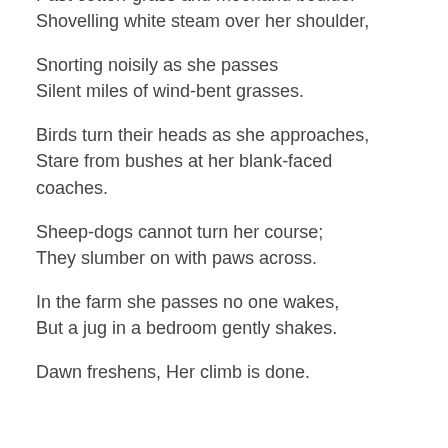Past cotton-grass and moorland boulder
Shovelling white steam over her shoulder,
Snorting noisily as she passes
Silent miles of wind-bent grasses.
Birds turn their heads as she approaches,
Stare from bushes at her blank-faced coaches.
Sheep-dogs cannot turn her course;
They slumber on with paws across.
In the farm she passes no one wakes,
But a jug in a bedroom gently shakes.
Dawn freshens, Her climb is done.